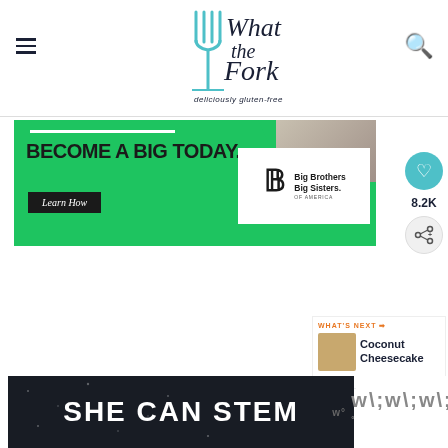[Figure (logo): What the Fork food blog logo with teal fork graphic and tagline 'deliciously gluten-free']
[Figure (infographic): Big Brothers Big Sisters advertisement banner: 'BECOME A BIG TODAY.' with Learn How button and BBBS of America logo on green background]
[Figure (infographic): Social sidebar with heart/like button showing 8.2K count and share button]
[Figure (infographic): What's Next panel with Coconut Cheesecake thumbnail]
[Figure (infographic): SHE CAN STEM advertisement banner on dark background]